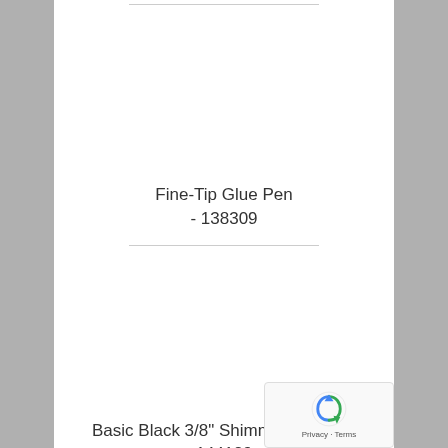[Figure (other): Product image placeholder area for Fine-Tip Glue Pen]
Fine-Tip Glue Pen - 138309
[Figure (other): Product image placeholder area for Basic Black 3/8" Shimmer Ribbon]
Basic Black 3/8" Shimmer Ribbon - 144129